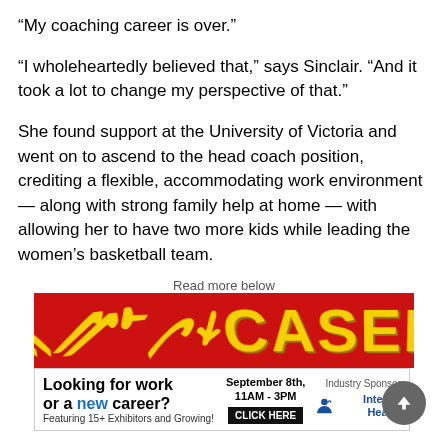“My coaching career is over.”
“I wholeheartedly believed that,” says Sinclair. “And it took a lot to change my perspective of that.”
She found support at the University of Victoria and went on to ascend to the head coach position, crediting a flexible, accommodating work environment — along with strong family help at home — with allowing her to have two more kids while leading the women’s basketball team.
Read more below
[Figure (other): Advertisement banner with red background showing CASELOT text in yellow, with job fair ad below: Looking for work or a new career? September 8th, 11AM-3PM, Featuring 15+ Exhibitors and Growing! CLICK HERE. Industry Sponsor: Interior Health.]